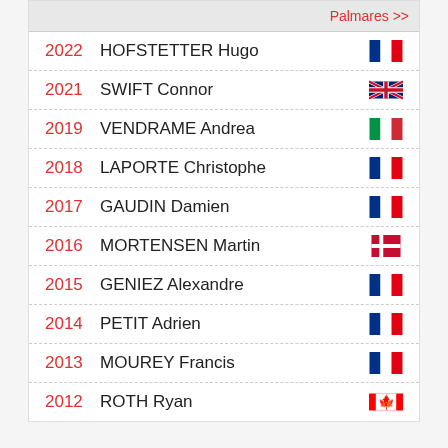| Year | Name | Country |
| --- | --- | --- |
| 2022 | HOFSTETTER Hugo | France |
| 2021 | SWIFT Connor | Great Britain |
| 2019 | VENDRAME Andrea | Italy |
| 2018 | LAPORTE Christophe | France |
| 2017 | GAUDIN Damien | France |
| 2016 | MORTENSEN Martin | Denmark |
| 2015 | GENIEZ Alexandre | France |
| 2014 | PETIT Adrien | France |
| 2013 | MOUREY Francis | France |
| 2012 | ROTH Ryan | Canada |